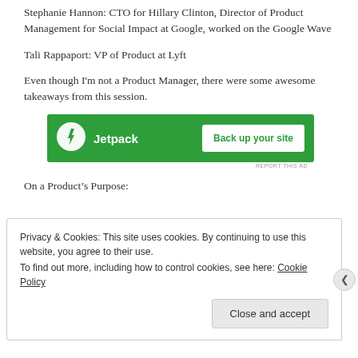Stephanie Hannon: CTO for Hillary Clinton, Director of Product Management for Social Impact at Google, worked on the Google Wave
Tali Rappaport: VP of Product at Lyft
Even though I'm not a Product Manager, there were some awesome takeaways from this session.
[Figure (infographic): Jetpack ad banner with green background, Jetpack logo and icon on left, 'Back up your site' button on right]
On a Product's Purpose:
Privacy & Cookies: This site uses cookies. By continuing to use this website, you agree to their use.
To find out more, including how to control cookies, see here: Cookie Policy
Close and accept